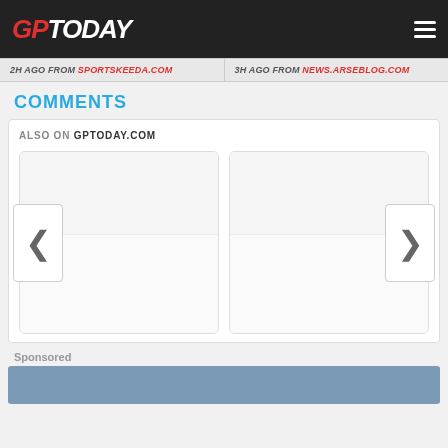GP TODAY
2H AGO FROM SPORTSKEEDA.COM
3H AGO FROM NEWS.ARSEBLOG.COM
COMMENTS
ALSO ON GPTODAY.COM
[Figure (screenshot): Disqus-style comments widget with two content cards side by side, left and right navigation arrows, and a Sponsored section below]
Sponsored